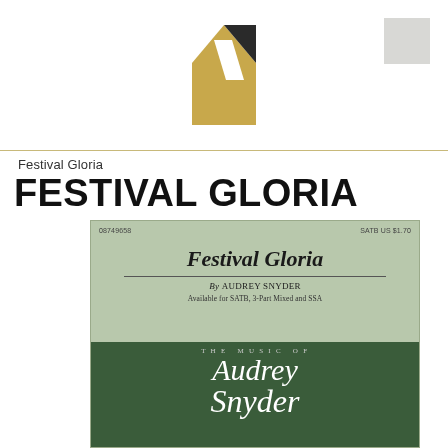[Figure (logo): Hal Leonard publisher logo — a stylized gold and dark geometric mark with a diagonal slash]
Festival Gloria
FESTIVAL GLORIA
[Figure (illustration): Sheet music cover for 'Festival Gloria' by Audrey Snyder. Light sage green background. Top line shows catalog number 08749658 on left and 'SATB US $1.70' on right. Large italic bold title 'Festival Gloria' with a horizontal rule beneath. Byline reads 'By AUDREY SNYDER'. Subtitle: 'Available for SATB, 3-Part Mixed and SSA'. Lower portion shows a dark green decorative panel with 'THE MUSIC OF' in spaced caps and large script lettering 'Audrey Snyder'.]